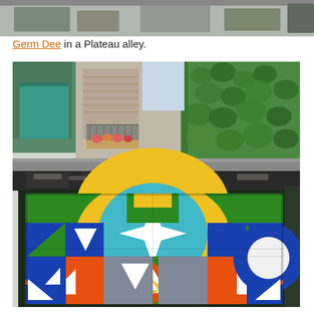[Figure (photo): Top portion of a photograph showing a graffiti mural scene, cropped at the top of the page.]
Germ Dee in a Plateau alley.
[Figure (photo): Photograph of a colorful geometric mural painted on a garage door in a Montreal Plateau alley. The mural features bold shapes including circles, triangles, squares in green, yellow, red, orange, blue, and grey, with a large white four-pointed star in the center. Above the garage, buildings with balconies and ivy-covered walls are visible against a bright summer sky.]